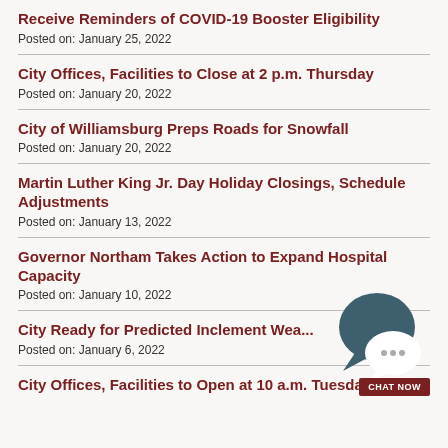Receive Reminders of COVID-19 Booster Eligibility
Posted on: January 25, 2022
City Offices, Facilities to Close at 2 p.m. Thursday
Posted on: January 20, 2022
City of Williamsburg Preps Roads for Snowfall
Posted on: January 20, 2022
Martin Luther King Jr. Day Holiday Closings, Schedule Adjustments
Posted on: January 13, 2022
Governor Northam Takes Action to Expand Hospital Capacity
Posted on: January 10, 2022
City Ready for Predicted Inclement Wea...
Posted on: January 6, 2022
City Offices, Facilities to Open at 10 a.m. Tuesday, Jan. 4
[Figure (illustration): Chat Now widget: dark teal speech bubble with ellipsis icon, overlapping a white speech bubble, with a dark red 'CHAT NOW' button below]